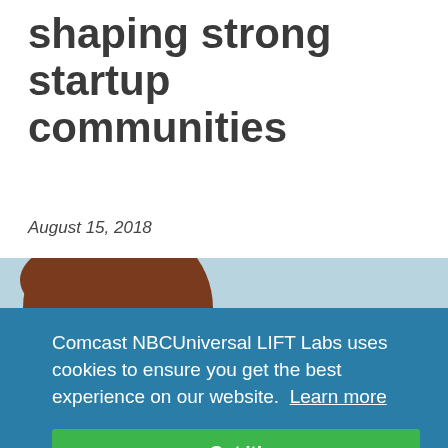shaping strong startup communities
August 15, 2018
[Figure (photo): Headshot of a woman with brown hair against a light blue background]
Comcast NBCUniversal LIFT Labs uses cookies to ensure you get the best experience on our website.  Learn more
Got it!
Comcast NBCUniversal LIFT Labs creates er-focused speaker programs, mentor sessions, and